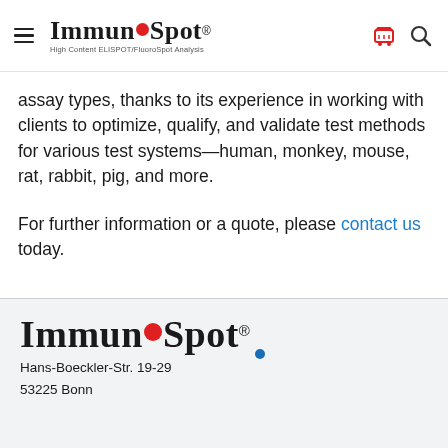ImmunoSpot — High Content ELISPOT/FluoroSpot Analysis
assay types, thanks to its experience in working with clients to optimize, qualify, and validate test methods for various test systems—human, monkey, mouse, rat, rabbit, pig, and more.
For further information or a quote, please contact us today.
ImmunoSpot
Hans-Boeckler-Str. 19-29
53225 Bonn